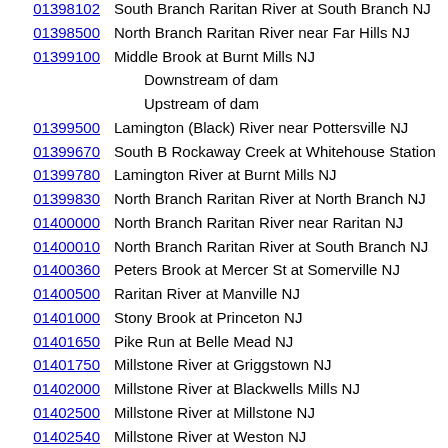01398102  South Branch Raritan River at South Branch NJ
01398500  North Branch Raritan River near Far Hills NJ
01399100  Middle Brook at Burnt Mills NJ
Downstream of dam
Upstream of dam
01399500  Lamington (Black) River near Pottersville NJ
01399670  South B Rockaway Creek at Whitehouse Station
01399780  Lamington River at Burnt Mills NJ
01399830  North Branch Raritan River at North Branch NJ
01400000  North Branch Raritan River near Raritan NJ
01400010  North Branch Raritan River at South Branch NJ
01400360  Peters Brook at Mercer St at Somerville NJ
01400500  Raritan River at Manville NJ
01401000  Stony Brook at Princeton NJ
01401650  Pike Run at Belle Mead NJ
01401750  Millstone River at Griggstown NJ
01402000  Millstone River at Blackwells Mills NJ
01402500  Millstone River at Millstone NJ
01402540  Millstone River at Weston NJ
01402630  Royce Brook at Hamilton Road near Manville NJ
01403060  Raritan River below Calco Dam at Bound Brook
01403150  West Branch Middle Brook near Martinsville NJ